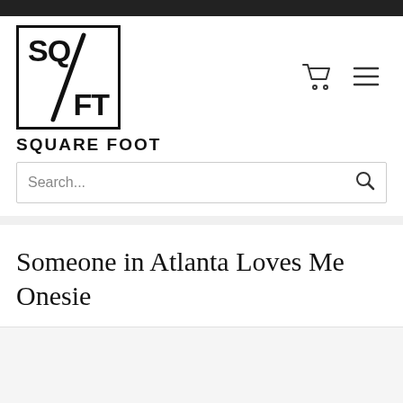[Figure (logo): Square Foot store logo: a square border containing 'SQ' top-left, a diagonal slash, and 'FT' bottom-right, with 'SQUARE FOOT' text below]
Search...
Someone in Atlanta Loves Me Onesie